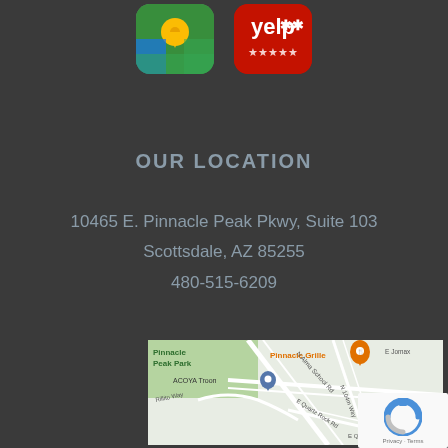[Figure (logo): Google and Yelp app logos at top of page]
OUR LOCATION
10465 E. Pinnacle Peak Pkwy, Suite 103
Scottsdale, AZ 85255
480-515-6209
[Figure (map): Google Maps screenshot showing Pinnacle Grille location at 10465 E. Pinnacle Peak Pkwy, Scottsdale AZ, near ACOYA Troon and Pinnacle Peak Park]
[Figure (other): reCAPTCHA widget with Privacy and Terms links]